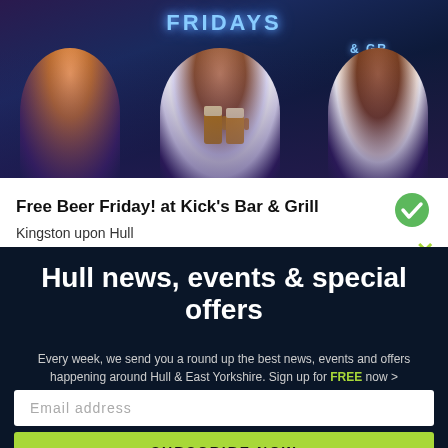[Figure (photo): Three women smiling and raising beer mugs in a bar with TGI Fridays neon sign in background]
Free Beer Friday! at Kick's Bar & Grill
Kingston upon Hull
Hull news, events & special offers
Every week, we send you a round up the best news, events and offers happening around Hull & East Yorkshire. Sign up for FREE now >
Email address
SUBSCRIBE NOW